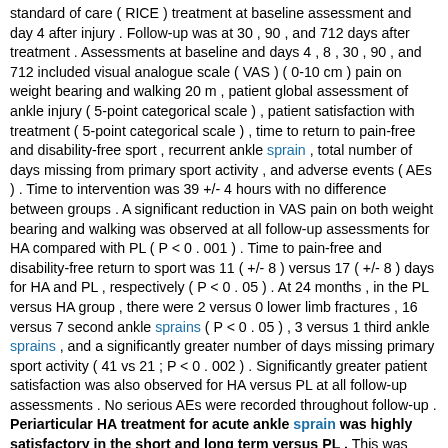standard of care ( RICE ) treatment at baseline assessment and day 4 after injury . Follow-up was at 30 , 90 , and 712 days after treatment . Assessments at baseline and days 4 , 8 , 30 , 90 , and 712 included visual analogue scale ( VAS ) ( 0-10 cm ) pain on weight bearing and walking 20 m , patient global assessment of ankle injury ( 5-point categorical scale ) , patient satisfaction with treatment ( 5-point categorical scale ) , time to return to pain-free and disability-free sport , recurrent ankle sprain , total number of days missing from primary sport activity , and adverse events ( AEs ) . Time to intervention was 39 +/- 4 hours with no difference between groups . A significant reduction in VAS pain on both weight bearing and walking was observed at all follow-up assessments for HA compared with PL ( P < 0 . 001 ) . Time to pain-free and disability-free return to sport was 11 ( +/- 8 ) versus 17 ( +/- 8 ) days for HA and PL , respectively ( P < 0 . 05 ) . At 24 months , in the PL versus HA group , there were 2 versus 0 lower limb fractures , 16 versus 7 second ankle sprains ( P < 0 . 05 ) , 3 versus 1 third ankle sprains , and a significantly greater number of days missing primary sport activity ( 41 vs 21 ; P < 0 . 002 ) . Significantly greater patient satisfaction was also observed for HA versus PL at all follow-up assessments . No serious AEs were recorded throughout follow-up . Periarticular HA treatment for acute ankle sprain was highly satisfactory in the short and long term versus PL . This was associated with reduced pain , more rapid return to sport , fewer recurrent ankle sprains , fewer missed days from sport , and with few associated AEs to 24 months . [ Sen. 13, subscore: 1.00 ]: Follow-up was at 30 , 90 , and 712 days after treatment . Assessments at baseline and days 4 , 8 , 30 , 90 , and 712 included visual analogue scale ( VAS ) ( 0-10 cm ) pain on weight bearing and walking 20 m , patient global assessment of ankle injury ( 5-point categorical scale ) , patient satisfaction with treatment ( 5-point categorical scale ) , time to return to pain-free and disability-free sport